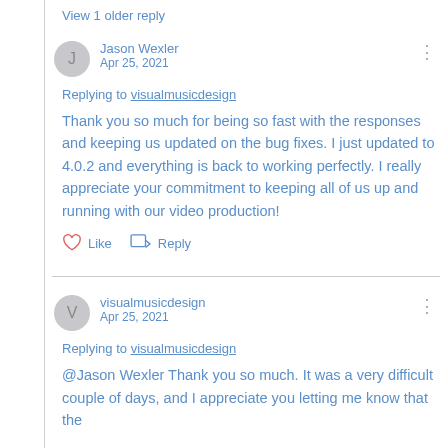View 1 older reply
Jason Wexler
Apr 25, 2021

Replying to visualmusicdesign

Thank you so much for being so fast with the responses and keeping us updated on the bug fixes. I just updated to 4.0.2 and everything is back to working perfectly. I really appreciate your commitment to keeping all of us up and running with our video production!

Like  Reply
visualmusicdesign
Apr 25, 2021

Replying to visualmusicdesign

@Jason Wexler  Thank you so much.  It was a very difficult couple of days, and I appreciate you letting me know that the